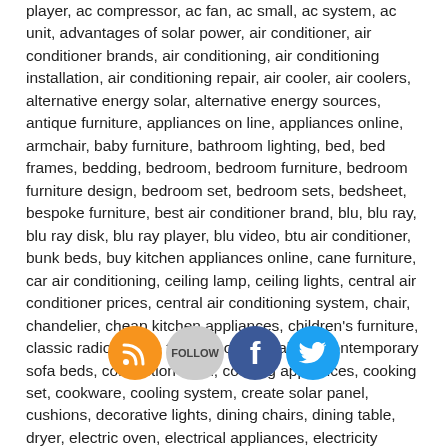player, ac compressor, ac fan, ac small, ac system, ac unit, advantages of solar power, air conditioner, air conditioner brands, air conditioning, air conditioning installation, air conditioning repair, air cooler, air coolers, alternative energy solar, alternative energy sources, antique furniture, appliances on line, appliances online, armchair, baby furniture, bathroom lighting, bed, bed frames, bedding, bedroom, bedroom furniture, bedroom furniture design, bedroom set, bedroom sets, bedsheet, bespoke furniture, best air conditioner brand, blu, blu ray, blu ray disk, blu ray player, blu video, btu air conditioner, bunk beds, buy kitchen appliances online, cane furniture, car air conditioning, ceiling lamp, ceiling lights, central air conditioner prices, central air conditioning system, chair, chandelier, cheap kitchen appliances, children's furniture, classic radio, coffee tables, console tables, contemporary sofa beds, convection oven, cooking appliances, cooking set, cookware, cooling system, create solar panel, cushions, decorative lights, dining chairs, dining table, dryer, electric oven, electrical appliances, electricity generation, Embroidery Machine, Fan, fm radio, fm radio stations online, free online music, free online radio, free solar panels, fridge, fridge for sale, furniture companies, furniture design, furniture factory, furniture for, furniture online, furniture shops, furniture stores, haier, heating cooling systems, home appliances, home furniture, home kitchen equipment, home lamps, home lighting, home wind power, hot
[Figure (infographic): Social media icons: RSS (orange), Follow (grey), Facebook (blue), Twitter (blue)]